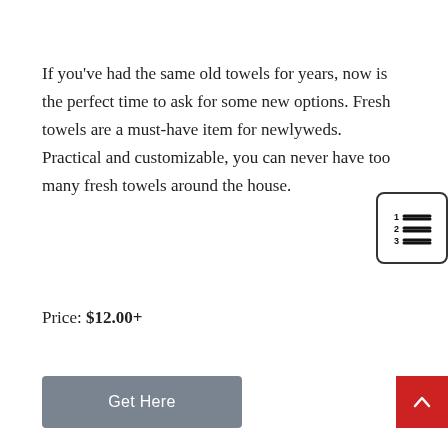If you've had the same old towels for years, now is the perfect time to ask for some new options. Fresh towels are a must-have item for newlyweds. Practical and customizable, you can never have too many fresh towels around the house.
[Figure (other): Numbered list icon with lines, inside a rounded rectangle border]
Price: $12.00+
[Figure (other): Get Here button (grey rounded rectangle) and a red up-arrow button]